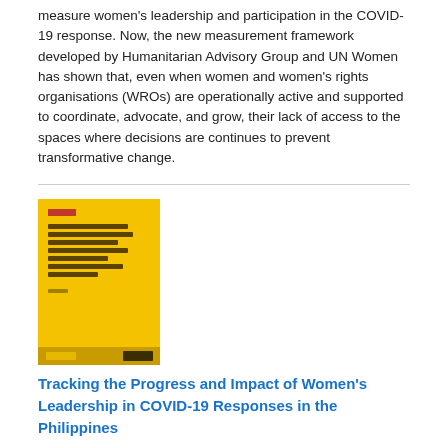measure women's leadership and participation in the COVID-19 response. Now, the new measurement framework developed by Humanitarian Advisory Group and UN Women has shown that, even when women and women's rights organisations (WROs) are operationally active and supported to coordinate, advocate, and grow, their lack of access to the spaces where decisions are continues to prevent transformative change.
[Figure (illustration): Book cover with yellow background titled 'Tracking the Progress and Impact of Women's Leadership in COVID-19 Responses in the Philippines']
Tracking the Progress and Impact of Women's Leadership in COVID-19 Responses in the Philippines
Date: Tuesday, 9 March 2021
The purpose of this research is to develop a framework and tools to measure women's leadership and participation in the COVID-19 response. Now, the new measurement framework developed by Humanitarian Advisory Group and UN Women has shown that, even when women and women's rights organisations (WROs) are